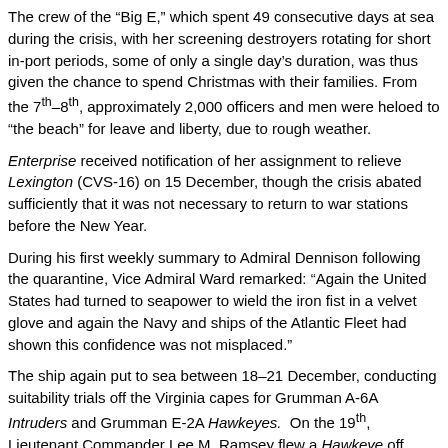The crew of the “Big E,” which spent 49 consecutive days at sea during the crisis, with her screening destroyers rotating for short in-port periods, some of only a single day’s duration, was thus given the chance to spend Christmas with their families. From the 7th–8th, approximately 2,000 officers and men were heloed to “the beach” for leave and liberty, due to rough weather.
Enterprise received notification of her assignment to relieve Lexington (CVS-16) on 15 December, though the crisis abated sufficiently that it was not necessary to return to war stations before the New Year.
During his first weekly summary to Admiral Dennison following the quarantine, Vice Admiral Ward remarked: “Again the United States had turned to seapower to wield the iron fist in a velvet glove and again the Navy and ships of the Atlantic Fleet had shown this confidence was not misplaced.”
The ship again put to sea between 18–21 December, conducting suitability trials off the Virginia capes for Grumman A-6A Intruders and Grumman E-2A Hawkeyes. On the 19th, Lieutenant Commander Lee M. Ramsey flew a Hawkeye off Enterprise in the first shipboard test of nose-tow gear.